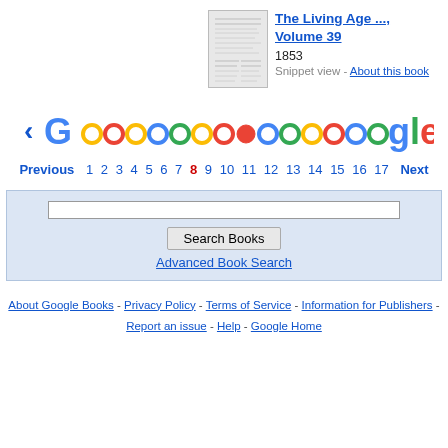[Figure (illustration): Small book cover thumbnail for The Living Age Volume 39]
The Living Age ..., Volume 39
1853
Snippet view - About this book
[Figure (infographic): Google pagination bar with colored circles forming the Google logo letters, with Previous and page number links 1-17 and Next, current page 8 highlighted in red]
Previous 1 2 3 4 5 6 7 8 9 10 11 12 13 14 15 16 17 Next
Search Books
Advanced Book Search
About Google Books - Privacy Policy - Terms of Service - Information for Publishers - Report an issue - Help - Google Home